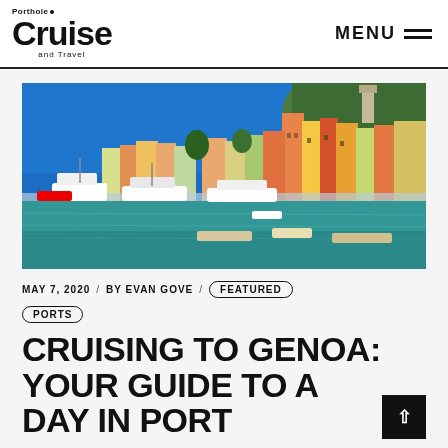Porthole Cruise and Travel — MENU
[Figure (photo): Colorful waterfront buildings of a Mediterranean Italian coastal town (Porto Venere/Portofino area) with boats moored in the harbor under a blue sky.]
MAY 7, 2020 / BY EVAN GOVE / FEATURED
PORTS
CRUISING TO GENOA: YOUR GUIDE TO A DAY IN PORT